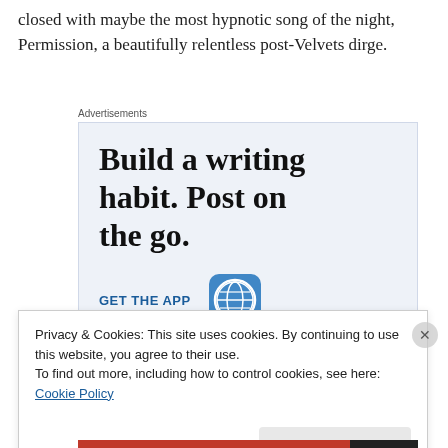closed with maybe the most hypnotic song of the night, Permission, a beautifully relentless post-Velvets dirge.
Advertisements
[Figure (screenshot): WordPress advertisement: 'Build a writing habit. Post on the go.' with GET THE APP call-to-action and WordPress logo]
Privacy & Cookies: This site uses cookies. By continuing to use this website, you agree to their use.
To find out more, including how to control cookies, see here: Cookie Policy
Close and accept